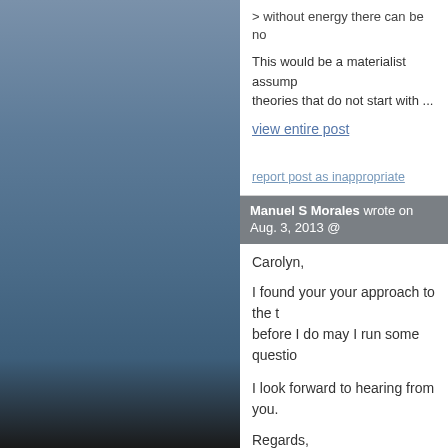> without energy there can be no
This would be a materialist assump theories that do not start with ...
view entire post
report post as inappropriate
Manuel S Morales wrote on Aug. 3, 2013 @
Carolyn,
I found your your approach to the t before I do may I run some questio
I look forward to hearing from you.
Regards,
Manuel
report post as inappropriate